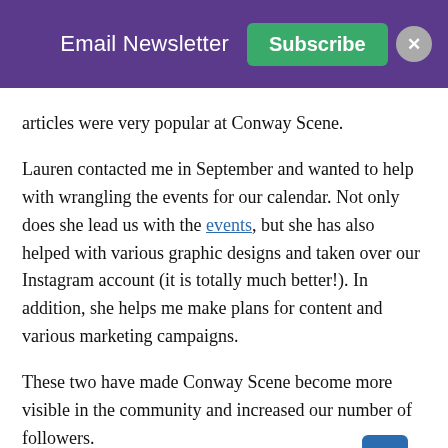Email Newsletter  Subscribe
articles were very popular at Conway Scene.
Lauren contacted me in September and wanted to help with wrangling the events for our calendar. Not only does she lead us with the events, but she has also helped with various graphic designs and taken over our Instagram account (it is totally much better!). In addition, she helps me make plans for content and various marketing campaigns.
These two have made Conway Scene become more visible in the community and increased our number of followers.
I am also thankful to you our readers!  I am